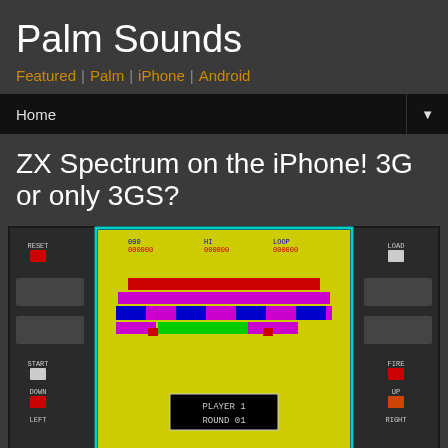Palm Sounds
Featured | Palm | iPhone | Android
Home
ZX Spectrum on the iPhone! 3G or only 3GS?
[Figure (screenshot): ZX Spectrum emulator running on an iPhone, showing a colorful brick-breaking game with PLAYER 1 ROUND 01 displayed, with on-screen controls including RESET, START, DOWN, LEFT on left side and LOAD, FIRE, UP, RIGHT on right side]